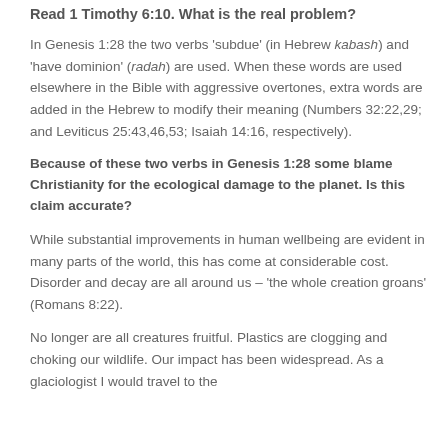Read 1 Timothy 6:10. What is the real problem?
In Genesis 1:28 the two verbs 'subdue' (in Hebrew kabash) and 'have dominion' (radah) are used. When these words are used elsewhere in the Bible with aggressive overtones, extra words are added in the Hebrew to modify their meaning (Numbers 32:22,29; and Leviticus 25:43,46,53; Isaiah 14:16, respectively).
Because of these two verbs in Genesis 1:28 some blame Christianity for the ecological damage to the planet. Is this claim accurate?
While substantial improvements in human wellbeing are evident in many parts of the world, this has come at considerable cost. Disorder and decay are all around us – 'the whole creation groans' (Romans 8:22).
No longer are all creatures fruitful. Plastics are clogging and choking our wildlife. Our impact has been widespread. As a glaciologist I would travel to the